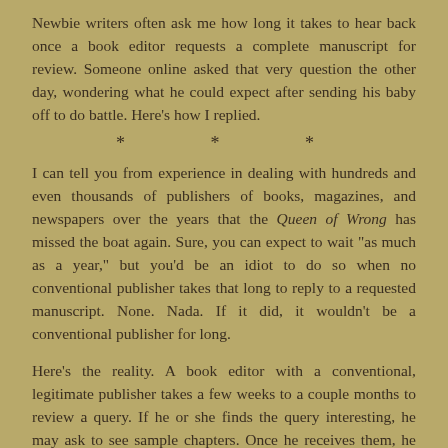Newbie writers often ask me how long it takes to hear back once a book editor requests a complete manuscript for review. Someone online asked that very question the other day, wondering what he could expect after sending his baby off to do battle. Here's how I replied.
* * *
I can tell you from experience in dealing with hundreds and even thousands of publishers of books, magazines, and newspapers over the years that the Queen of Wrong has missed the boat again. Sure, you can expect to wait "as much as a year," but you'd be an idiot to do so when no conventional publisher takes that long to reply to a requested manuscript. None. Nada. If it did, it wouldn't be a conventional publisher for long.
Here's the reality. A book editor with a conventional, legitimate publisher takes a few weeks to a couple months to review a query. If he or she finds the query interesting, he may ask to see sample chapters. Once he receives them, he may need another two-to-four weeks to read them. If he likes what he sees, he'll want to "follow up" on the complete manuscript.